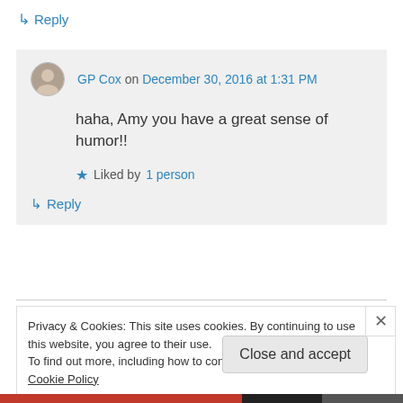↳ Reply
GP Cox on December 30, 2016 at 1:31 PM
haha, Amy you have a great sense of humor!!
★ Liked by 1 person
↳ Reply
Privacy & Cookies: This site uses cookies. By continuing to use this website, you agree to their use.
To find out more, including how to control cookies, see here: Cookie Policy
Close and accept